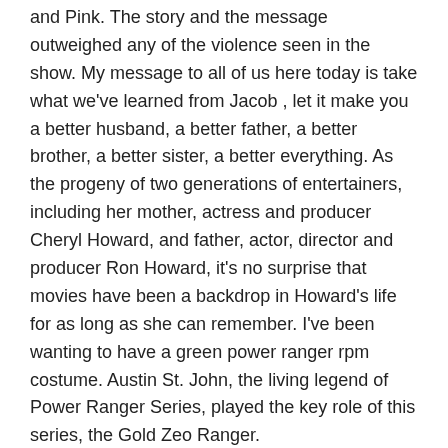and Pink. The story and the message outweighed any of the violence seen in the show. My message to all of us here today is take what we've learned from Jacob , let it make you a better husband, a better father, a better brother, a better sister, a better everything. As the progeny of two generations of entertainers, including her mother, actress and producer Cheryl Howard, and father, actor, director and producer Ron Howard, it's no surprise that movies have been a backdrop in Howard's life for as long as she can remember. I've been wanting to have a green power ranger rpm costume. Austin St. John, the living legend of Power Ranger Series, played the key role of this series, the Gold Zeo Ranger.
Was it just the series, or was there some chemistry that connected with them? There is also a yellow one, a black one, power ranger costume a green or a white one. Our Jungle Fury Yellow Power Ranger T Deluxe Child Costume includes a dynamic yellow jumpsuit with black and design and character mask. A silver molded